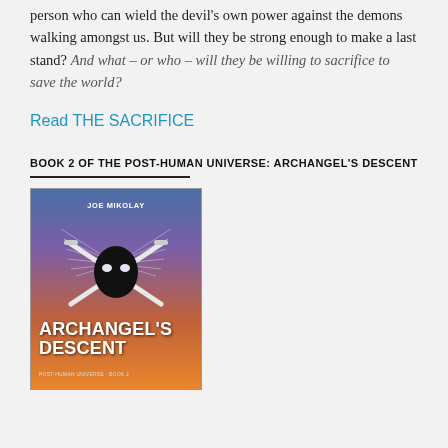person who can wield the devil's own power against the demons walking amongst us. But will they be strong enough to make a last stand? And what – or who – will they be willing to sacrifice to save the world?
Read THE SACRIFICE
BOOK 2 OF THE POST-HUMAN UNIVERSE: ARCHANGEL'S DESCENT
[Figure (illustration): Book cover for Archangel's Descent by Joe Mikolay. Post-Human Universe Book 2. Dark background with stylized angel/demon mask with glowing eyes and crossed swords, wings spread out. Gradient from blue-purple to orange at bottom.]